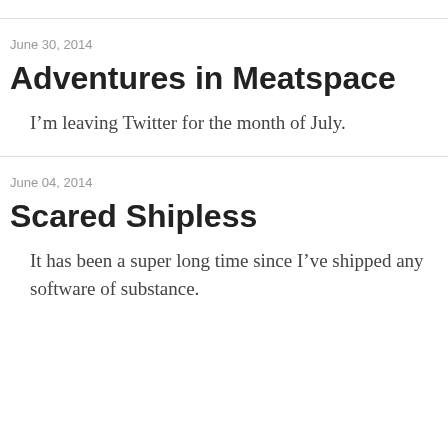June 30, 2014
Adventures in Meatspace
I’m leaving Twitter for the month of July.
June 04, 2014
Scared Shipless
It has been a super long time since I’ve shipped any software of substance.